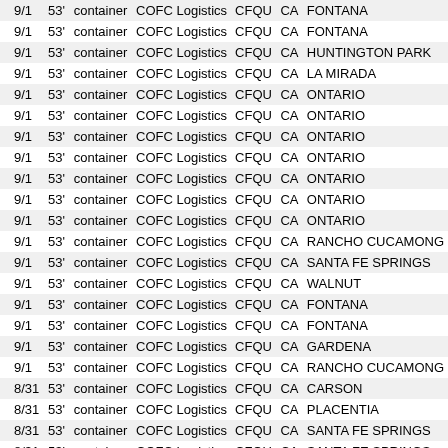| 9/1 | 53' | container | COFC Logistics | CFQU | CA | FONTANA |
| 9/1 | 53' | container | COFC Logistics | CFQU | CA | FONTANA |
| 9/1 | 53' | container | COFC Logistics | CFQU | CA | HUNTINGTON PARK |
| 9/1 | 53' | container | COFC Logistics | CFQU | CA | LA MIRADA |
| 9/1 | 53' | container | COFC Logistics | CFQU | CA | ONTARIO |
| 9/1 | 53' | container | COFC Logistics | CFQU | CA | ONTARIO |
| 9/1 | 53' | container | COFC Logistics | CFQU | CA | ONTARIO |
| 9/1 | 53' | container | COFC Logistics | CFQU | CA | ONTARIO |
| 9/1 | 53' | container | COFC Logistics | CFQU | CA | ONTARIO |
| 9/1 | 53' | container | COFC Logistics | CFQU | CA | ONTARIO |
| 9/1 | 53' | container | COFC Logistics | CFQU | CA | ONTARIO |
| 9/1 | 53' | container | COFC Logistics | CFQU | CA | RANCHO CUCAMONG |
| 9/1 | 53' | container | COFC Logistics | CFQU | CA | SANTA FE SPRINGS |
| 9/1 | 53' | container | COFC Logistics | CFQU | CA | WALNUT |
| 9/1 | 53' | container | COFC Logistics | CFQU | CA | FONTANA |
| 9/1 | 53' | container | COFC Logistics | CFQU | CA | FONTANA |
| 9/1 | 53' | container | COFC Logistics | CFQU | CA | GARDENA |
| 9/1 | 53' | container | COFC Logistics | CFQU | CA | RANCHO CUCAMONG |
| 8/31 | 53' | container | COFC Logistics | CFQU | CA | CARSON |
| 8/31 | 53' | container | COFC Logistics | CFQU | CA | PLACENTIA |
| 8/31 | 53' | container | COFC Logistics | CFQU | CA | SANTA FE SPRINGS |
| 8/31 | 53' | container | COFC Logistics | CFQU | CA | SANTA FE SPRINGS |
| 8/31 | 53' | container | COFC Logistics | CFQU | CA | WESTMINSTER |